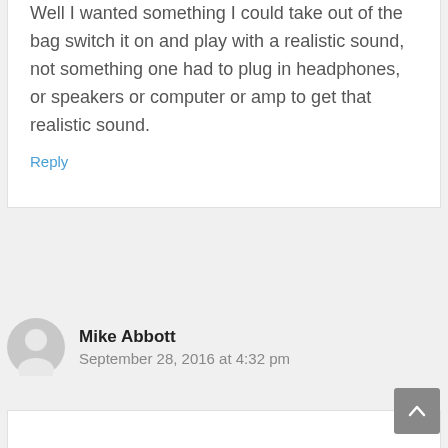Well I wanted something I could take out of the bag switch it on and play with a realistic sound, not something one had to plug in headphones, or speakers or computer or amp to get that realistic sound.
Reply
Mike Abbott
September 28, 2016 at 4:32 pm